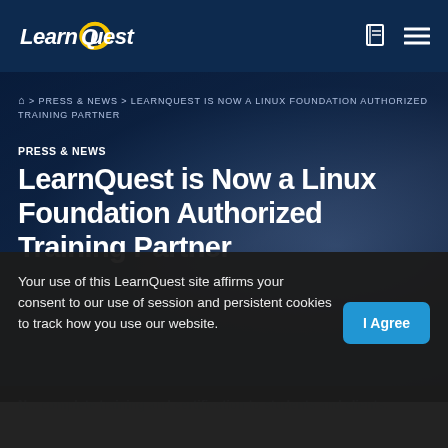LearnQuest
🏠 > PRESS & NEWS > LEARNQUEST IS NOW A LINUX FOUNDATION AUTHORIZED TRAINING PARTNER
PRESS & NEWS
LearnQuest is Now a Linux Foundation Authorized Training Partner
Your use of this LearnQuest site affirms your consent to our use of session and persistent cookies to track how you use our website.
... complete training and certification to students and clients.